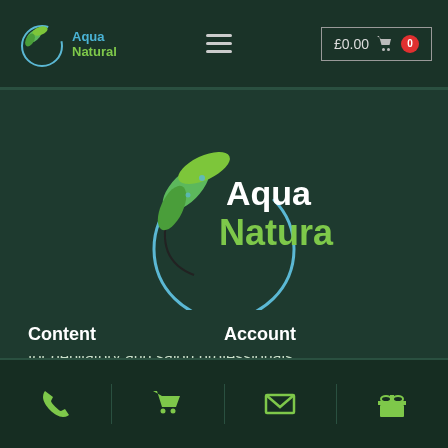[Figure (logo): Aqua Natural logo in header: small circular leaf emblem with Aqua Natural text]
[Figure (logo): Aqua Natural large center logo with circular design, green leaves, and blue swirl. Text: Aqua (white) Natural (green)]
Aqua Natural strip sugar wax products made in the UK for depilatory and salon professionals.
Content
Account
[Figure (infographic): Bottom navigation bar with four green icons: phone, shopping cart, envelope, gift box]